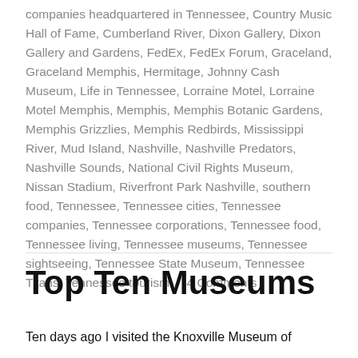companies headquartered in Tennessee, Country Music Hall of Fame, Cumberland River, Dixon Gallery, Dixon Gallery and Gardens, FedEx, FedEx Forum, Graceland, Graceland Memphis, Hermitage, Johnny Cash Museum, Life in Tennessee, Lorraine Motel, Lorraine Motel Memphis, Memphis, Memphis Botanic Gardens, Memphis Grizzlies, Memphis Redbirds, Mississippi River, Mud Island, Nashville, Nashville Predators, Nashville Sounds, National Civil Rights Museum, Nissan Stadium, Riverfront Park Nashville, southern food, Tennessee, Tennessee cities, Tennessee companies, Tennessee corporations, Tennessee food, Tennessee living, Tennessee museums, Tennessee sightseeing, Tennessee State Museum, Tennessee Titans, Tennessee tourism / 4 Comments
Top Ten Museums
Ten days ago I visited the Knoxville Museum of